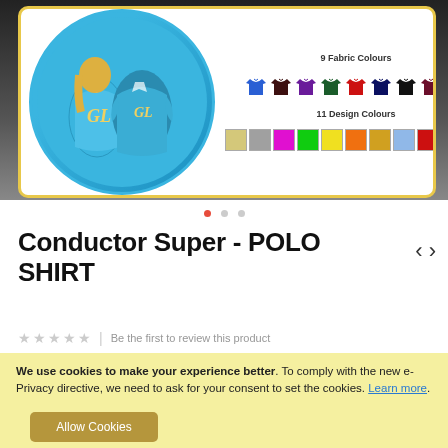[Figure (photo): Product image showing two people wearing blue polo shirts with embroidered design, displayed in a circular frame. To the right: 9 Fabric Colours shown as shirt icons in blue, dark brown, purple, dark green, red, navy, black, maroon, light blue. Below: 11 Design Colours shown as colored swatches: beige, gray, magenta, green, yellow, orange, gold, light blue, red, pink, lavender.]
9 Fabric Colours
11 Design Colours
Conductor Super - POLO SHIRT
Be the first to review this product
We use cookies to make your experience better. To comply with the new e-Privacy directive, we need to ask for your consent to set the cookies. Learn more.
Allow Cookies